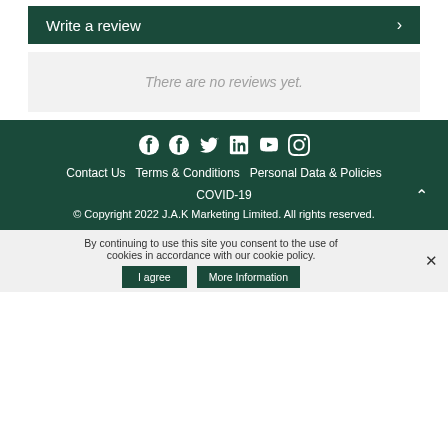Write a review
There are no reviews yet.
Contact Us  Terms & Conditions  Personal Data & Policies  COVID-19  © Copyright 2022 J.A.K Marketing Limited. All rights reserved.
By continuing to use this site you consent to the use of cookies in accordance with our cookie policy.
I agree  More Information